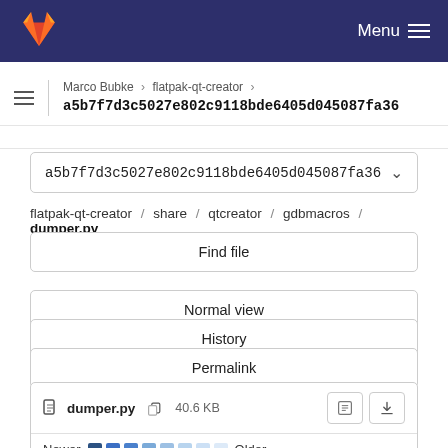GitLab — Menu
Marco Bubke › flatpak-qt-creator ›
a5b7f7d3c5027e802c9118bde6405d045087fa36
a5b7f7d3c5027e802c9118bde6405d045087fa36
flatpak-qt-creator / share / qtcreator / gdbmacros / dumper.py
Find file
Normal view
History
Permalink
dumper.py   40.6 KB
Newer   Older